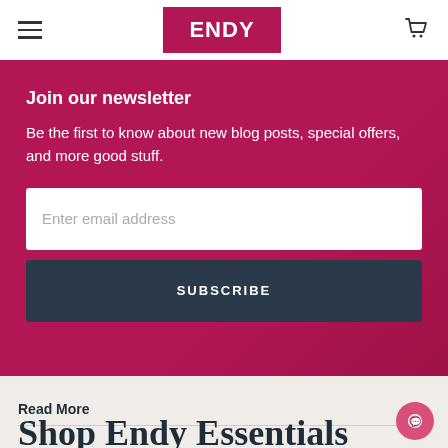ENDY
Join our newsletter
Be the first to know about new blog posts, special offers, and more good stuff.
Enter email address
SUBSCRIBE
Read More
Shop Endy Essentials